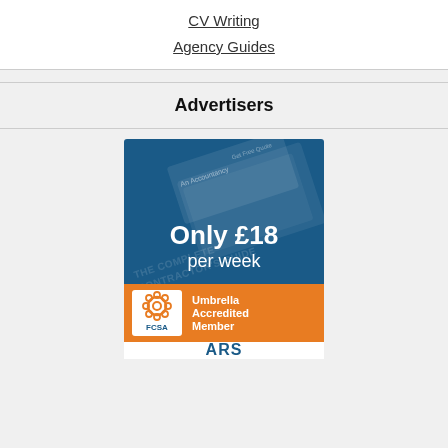CV Writing
Agency Guides
Advertisers
[Figure (infographic): Advertisement banner for a contractor accountancy service. Blue background with diagonal card watermark showing 'THE COMPLETE CONTRACTOR'S GUIDE'. Text reads 'Only £18 per week'. Below is an orange FCSA badge reading 'Umbrella Accredited Member' with the FCSA logo. At the bottom is an ARS logo partially visible.]